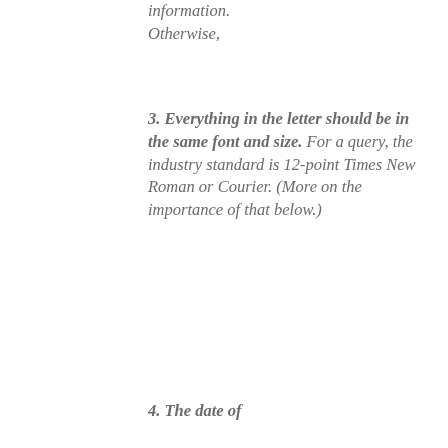information. Otherwise,
3. Everything in the letter should be in the same font and size. For a query, the industry standard is 12-point Times New Roman or Courier. (More on the importance of that below.)
4. The date of